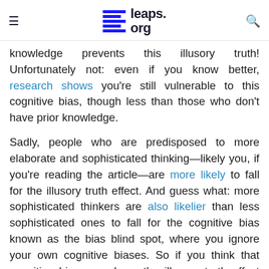leaps.org
knowledge prevents this illusory truth! Unfortunately not: even if you know better, research shows you're still vulnerable to this cognitive bias, though less than those who don't have prior knowledge.
Sadly, people who are predisposed to more elaborate and sophisticated thinking—likely you, if you're reading the article—are more likely to fall for the illusory truth effect. And guess what: more sophisticated thinkers are also likelier than less sophisticated ones to fall for the cognitive bias known as the bias blind spot, where you ignore your own cognitive biases. So if you think that cognitive biases such as the illusory truth effect don't apply to you, you're likely deluding yourself.
That's why the purveyors of misinformation rely on